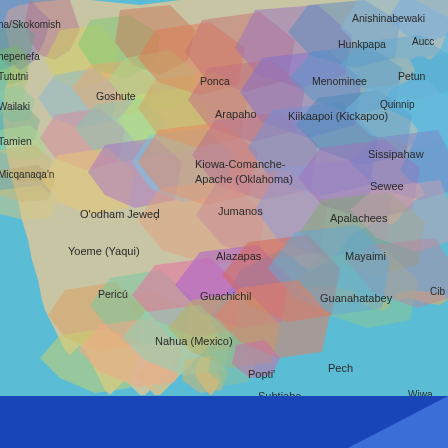[Figure (map): Map of Native American / Indigenous territories across North America, Central America, and the Caribbean, showing colorful overlapping polygonal regions labeled with Indigenous nation/group names on a light blue ocean background.]